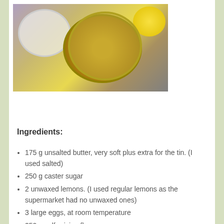[Figure (photo): Photo showing a bowl with butter chunks, a smaller bowl with flour, and a lemon on a counter top, viewed from above.]
Ingredients:
175 g unsalted butter, very soft plus extra for the tin. (I used salted)
250 g caster sugar
2 unwaxed lemons. (I used regular lemons as the supermarket had no unwaxed ones)
3 large eggs, at room temperature
250 g self-raising flour
1/2 teaspoon baking powder